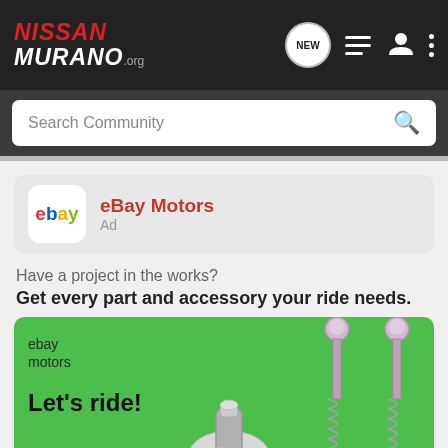NISSAN MURANO.org
Search Community
[Figure (logo): eBay logo in colored letters inside white rounded square]
eBay Motors
Ad
Have a project in the works?
Get every part and accessory your ride needs.
[Figure (illustration): eBay Motors advertisement banner with green background showing turbo engine part and two coilover shock absorbers, with text 'ebay motors' and 'Let's ride!']